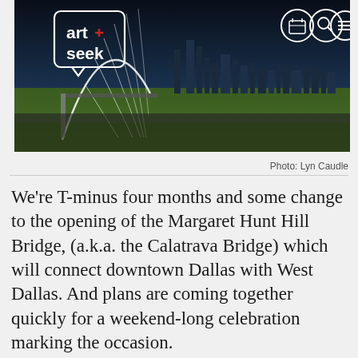[Figure (photo): ArtSeek website header banner showing the Dallas skyline with the Margaret Hunt Hill Bridge cable arch, taken at dusk/night. The ArtSeek logo (white speech bubble with 'art+seek' text) is in the upper left. Three circular nav icons (calendar, search, menu) are in the upper right.]
Photo: Lyn Caudle
We're T-minus four months and some change to the opening of the Margaret Hunt Hill Bridge, (a.k.a. the Calatrava Bridge) which will connect downtown Dallas with West Dallas. And plans are coming together quickly for a weekend-long celebration marking the occasion.